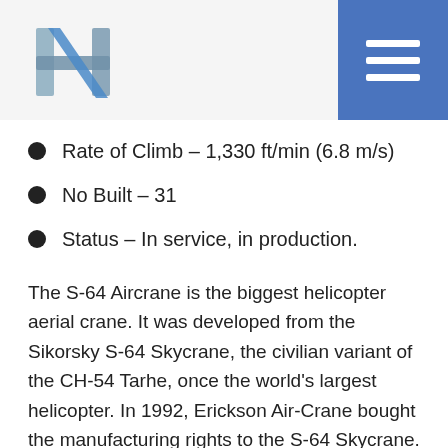H logo and menu
Rate of Climb – 1,330 ft/min (6.8 m/s)
No Built – 31
Status – In service, in production.
The S-64 Aircrane is the biggest helicopter aerial crane. It was developed from the Sikorsky S-64 Skycrane, the civilian variant of the CH-54 Tarhe, once the world's largest helicopter. In 1992, Erickson Air-Crane bought the manufacturing rights to the S-64 Skycrane. Currently, the company is producing S-64 Aircranes for companies, governments, and non-